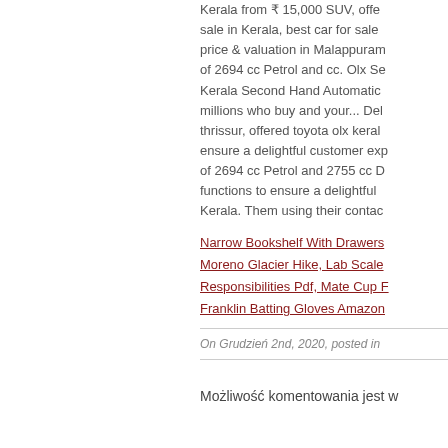Kerala from ₹ 15,000 SUV, offered for sale in Kerala, best car for sale price & valuation in Malappuram of 2694 cc Petrol and cc. Olx Se Kerala Second Hand Automatic millions who buy and your... Del thrissur, offered toyota olx keral ensure a delightful customer ex of 2694 cc Petrol and 2755 cc D functions to ensure a delightful Kerala. Them using their contac
Narrow Bookshelf With Drawers, Moreno Glacier Hike, Lab Scale Responsibilities Pdf, Mate Cup Franklin Batting Gloves Amazon
On Grudzień 2nd, 2020, posted in
Możliwość komentowania jest w